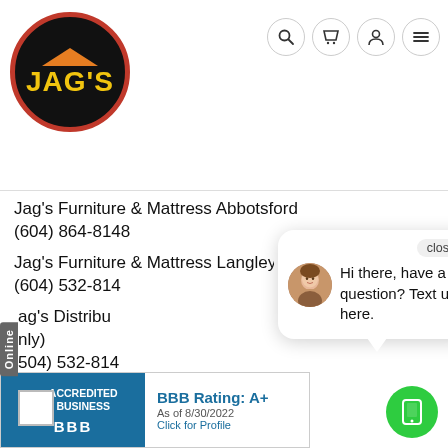[Figure (logo): Jag's Furniture logo: black circle with red border, orange roof/house icon, yellow JAG'S text]
[Figure (screenshot): Navigation icons: search, cart, user, hamburger menu]
Jag's Furniture & Mattress Abbotsford
(604) 864-8148
Jag's Furniture & Mattress Langley
(604) 532-814
Jag's Distributor (Online only)
(604) 532-814
[Figure (screenshot): Chat popup with avatar photo of a woman, close button, and message: Hi there, have a question? Text us here.]
[Figure (logo): BBB Accredited Business badge with BBB Rating: A+ as of 8/30/2022, Click for Profile]
[Figure (other): Green circular button with phone/device icon]